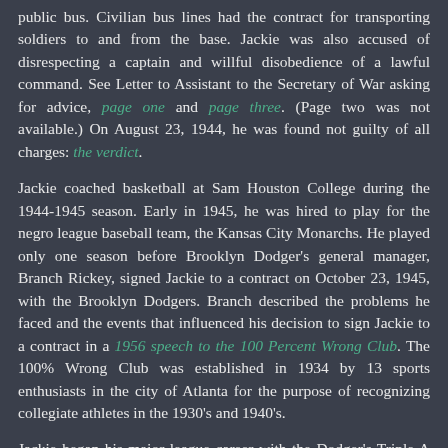public bus. Civilian bus lines had the contract for transporting soldiers to and from the base. Jackie was also accused of disrespecting a captain and willful disobedience of a lawful command. See Letter to Assistant to the Secretary of War asking for advice, page one and page three. (Page two was not available.) On August 23, 1944, he was found not guilty of all charges: the verdict.
Jackie coached basketball at Sam Houston College during the 1944-1945 season. Early in 1945, he was hired to play for the negro league baseball team, the Kansas City Monarchs. He played only one season before Brooklyn Dodger's general manager, Branch Rickey, signed Jackie to a contract on October 23, 1945, with the Brooklyn Dodgers. Branch described the problems he faced and the events that influenced his decision to sign Jackie to a contract in a 1956 speech to the 100 Percent Wrong Club. The 100% Wrong Club was established in 1934 by 13 sports enthusiasts in the city of Atlanta for the purpose of recognizing collegiate athletes in the 1930's and 1940's.
Jackie began his major league career with the Dodger's Triple A minor league team, the Montreal Royals where he played shortstop. On opening day on April 18, 1946, he hit a three-run homer, four singles, stole two bases, and batted in four runs in a